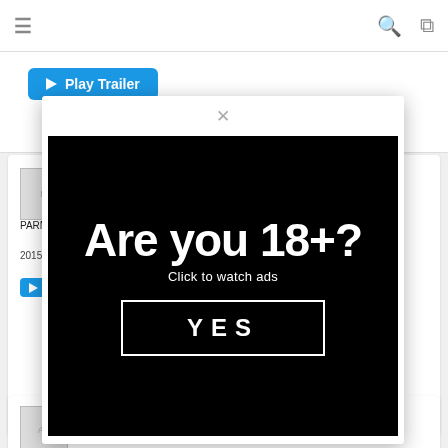≡  [search icon] [fullscreen icon]
▶ Play Trailer
PA... White...
PARM... White...  's
2015
▶ P...
[Figure (screenshot): Age verification modal popup with black background showing 'Are you 18+?' in large bold white text, 'Click to watch ads' subtitle, and a bordered YES button]
Was Me.in - Aroma Kikaku